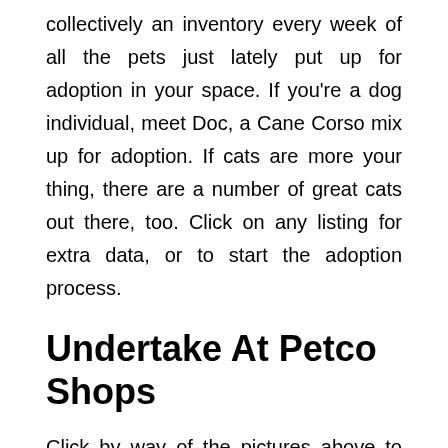collectively an inventory every week of all the pets just lately put up for adoption in your space. If you're a dog individual, meet Doc, a Cane Corso mix up for adoption. If cats are more your thing, there are a number of great cats out there, too. Click on any listing for extra data, or to start the adoption process.
Undertake At Petco Shops
Click by way of the pictures above to meet the cute canines and cats up for adoption this weekend. Updating of the adoptable animal info on our website is steady. Photographs and/or descriptions of our animals are added to and deleted every time an animal is adopted, returned to its proprietor, and so